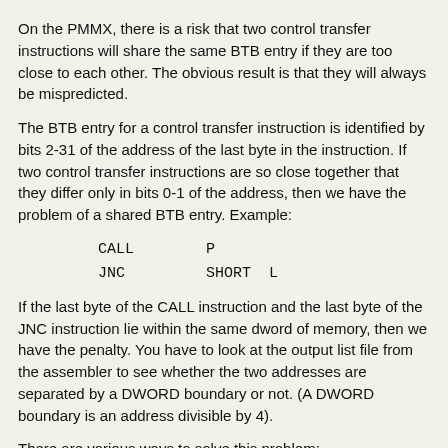On the PMMX, there is a risk that two control transfer instructions will share the same BTB entry if they are too close to each other. The obvious result is that they will always be mispredicted.
The BTB entry for a control transfer instruction is identified by bits 2-31 of the address of the last byte in the instruction. If two control transfer instructions are so close together that they differ only in bits 0-1 of the address, then we have the problem of a shared BTB entry. Example:
CALL        P
JNC         SHORT  L
If the last byte of the CALL instruction and the last byte of the JNC instruction lie within the same dword of memory, then we have the penalty. You have to look at the output list file from the assembler to see whether the two addresses are separated by a DWORD boundary or not. (A DWORD boundary is an address divisible by 4).
There are various ways to solve this problem:
1. Move the code sequence a little up or down in memory so that you get a dword boundary between the two addresses.
2. Change the short jump to a near jump (with 4 bytes